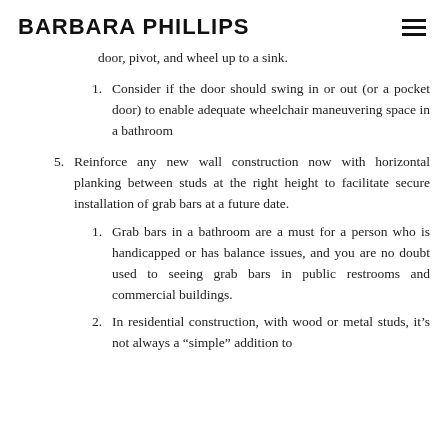BARBARA PHILLIPS
door, pivot, and wheel up to a sink.
1. Consider if the door should swing in or out (or a pocket door) to enable adequate wheelchair maneuvering space in a bathroom
5. Reinforce any new wall construction now with horizontal planking between studs at the right height to facilitate secure installation of grab bars at a future date.
1. Grab bars in a bathroom are a must for a person who is handicapped or has balance issues, and you are no doubt used to seeing grab bars in public restrooms and commercial buildings.
2. In residential construction, with wood or metal studs, it’s not always a “simple” addition to